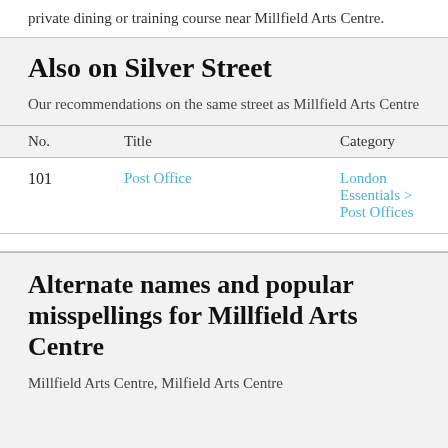private dining or training course near Millfield Arts Centre.
Also on Silver Street
Our recommendations on the same street as Millfield Arts Centre
| No. | Title | Category |
| --- | --- | --- |
| 101 | Post Office | London Essentials > Post Offices |
Alternate names and popular misspellings for Millfield Arts Centre
Millfield Arts Centre, Milfield Arts Centre